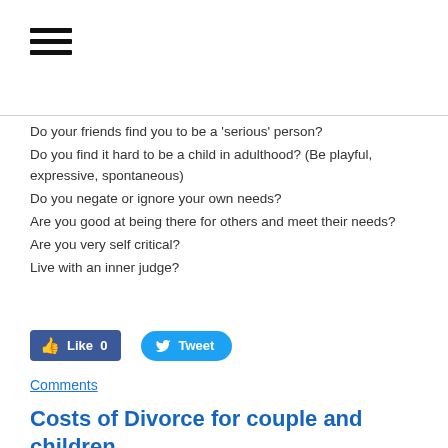[Figure (other): Hamburger menu icon (three horizontal bars)]
Do your friends find you to be a 'serious' person?
Do you find it hard to be a child in adulthood? (Be playful, expressive, spontaneous)
Do you negate or ignore your own needs?
Are you good at being there for others and meet their needs?
Are you very self critical?
Live with an inner judge?
[Figure (other): Facebook Like button showing '0' likes and Twitter Tweet button]
Comments
Costs of Divorce for couple and children
7/15/2018  Comments